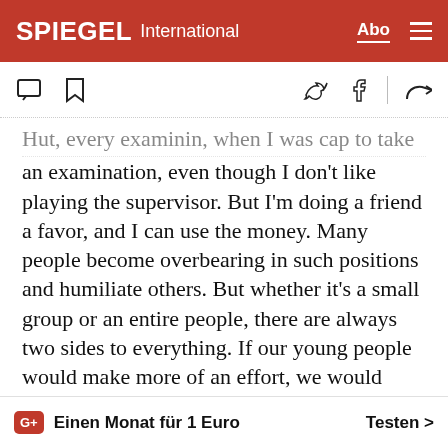SPIEGEL International
an examination, even though I don't like playing the supervisor. But I'm doing a friend a favor, and I can use the money. Many people become overbearing in such positions and humiliate others. But whether it's a small group or an entire people, there are always two sides to everything. If our young people would make more of an effort, we would have more experts. That would be good for our people.
On the way home I see a drug addict with her baby. She is begging by the side of the road. We have so
Einen Monat für 1 Euro   Testen >